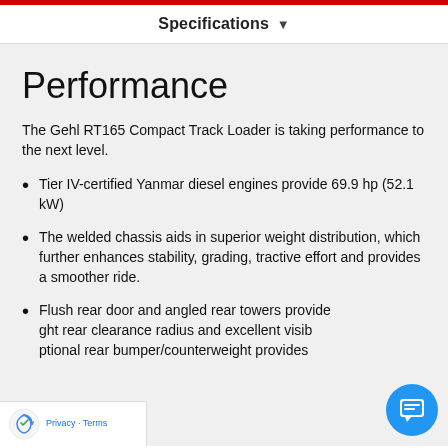Specifications ▾
Performance
The Gehl RT165 Compact Track Loader is taking performance to the next level.
Tier IV-certified Yanmar diesel engines provide 69.9 hp (52.1 kW)
The welded chassis aids in superior weight distribution, which further enhances stability, grading, tractive effort and provides a smoother ride.
Flush rear door and angled rear towers provide tight rear clearance radius and excellent visibility. Optional rear bumper/counterweight provides additional stability and counterweight capabilities.